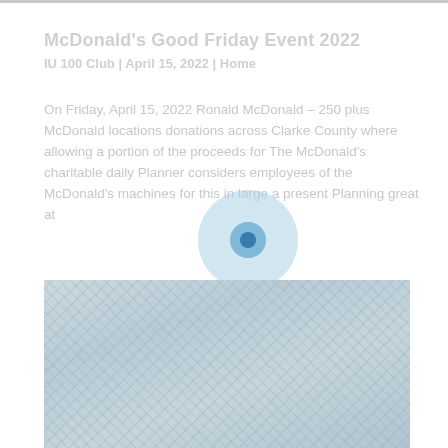McDonald's Good Friday Event 2022
IU 100 Club | April 15, 2022 | Home
On Friday, April 15, 2022 Ronald McDonald – 250 plus McDonald locations donations across Clarke County where allowing a portion of the proceeds for The McDonald's Charitable Daily Planner employs employees of the McDonald's machines for this in large a present planning great at
[Figure (photo): Group photo of people at a McDonald's Good Friday event, rendered in a very light/faded blue-grey tone.]